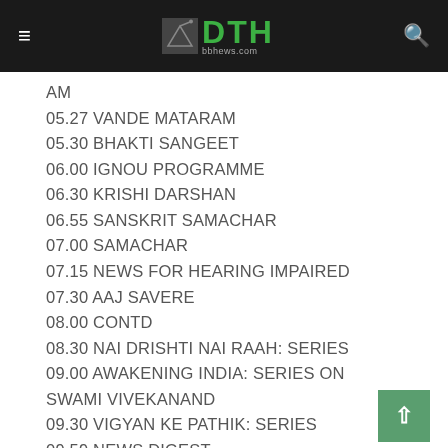DTH News - TV schedule listing
AM
05.27 VANDE MATARAM
05.30 BHAKTI SANGEET
06.00 IGNOU PROGRAMME
06.30 KRISHI DARSHAN
06.55 SANSKRIT SAMACHAR
07.00 SAMACHAR
07.15 NEWS FOR HEARING IMPAIRED
07.30 AAJ SAVERE
08.00 CONTD
08.30 NAI DRISHTI NAI RAAH: SERIES
09.00 AWAKENING INDIA: SERIES ON SWAMI VIVEKANAND
09.30 VIGYAN KE PATHIK: SERIES
09.59 NEWS DIGEST
10.00 ETV
10.30 BUNTY BUBBLY KI MUMMY: SERIAL
11.00 DESERT CALLING: SERIES
11.30 AYE-DIL-E-NADAN: SERIAL